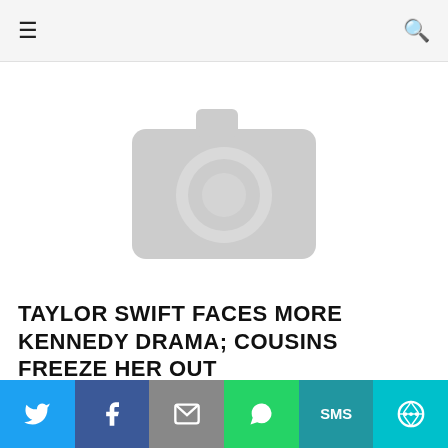≡  🔍
[Figure (photo): Placeholder image with camera icon on white background]
TAYLOR SWIFT FACES MORE KENNEDY DRAMA; COUSINS FREEZE HER OUT
KEITH GIRARD × AUGUST 25, 2012
Taylor Swift could be heading for more Kennedy family drama. Kennedy